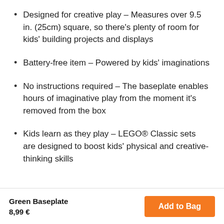Designed for creative play – Measures over 9.5 in. (25cm) square, so there's plenty of room for kids' building projects and displays
Battery-free item – Powered by kids' imaginations
No instructions required – The baseplate enables hours of imaginative play from the moment it's removed from the box
Kids learn as they play – LEGO® Classic sets are designed to boost kids' physical and creative-thinking skills
Green Baseplate
8,99 €
Add to Bag